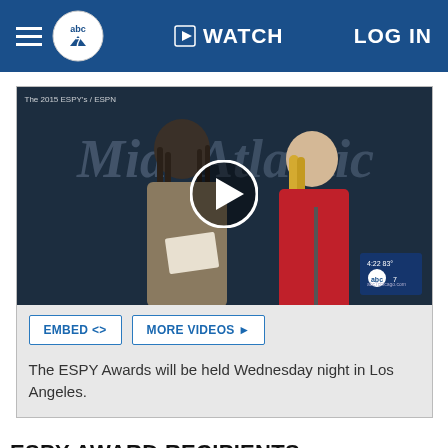abc7 WATCH LOG IN
[Figure (screenshot): Video thumbnail showing two people on stage at the ESPY Awards — a man with dreadlocks in a suit and a woman in a red dress. Play button overlay in center. ABC7 watermark in lower right. Text overlay reads 'The 2015 ESPY s / ESPN'.]
The ESPY Awards will be held Wednesday night in Los Angeles.
ESPY AWARD RECIPIENTS